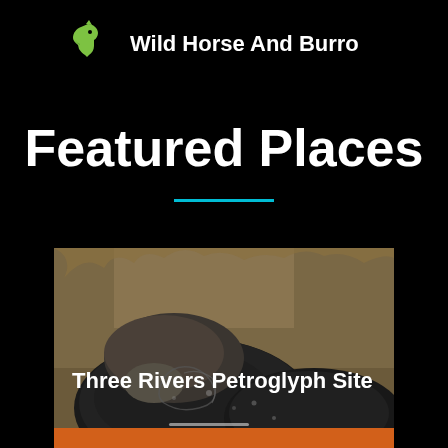Wild Horse And Burro
Featured Places
[Figure (photo): Dark volcanic rock boulders with petroglyphs carved on the surface, dry scrub vegetation in background. Text overlay reads 'Three Rivers Petroglyph Site']
Three Rivers Petroglyph Site